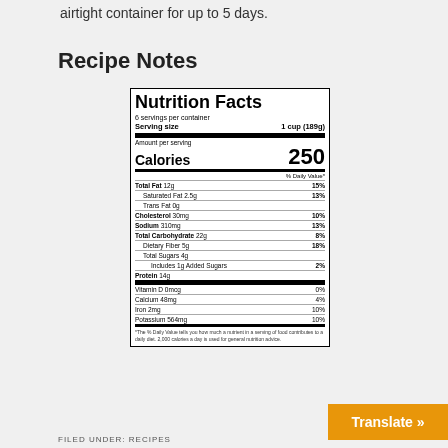airtight container for up to 5 days.
Recipe Notes
[Figure (other): Nutrition Facts label showing: 6 servings per container, Serving size 1 cup (189g), Calories 250, Total Fat 12g 15%, Saturated Fat 2.5g 13%, Trans Fat 0g, Cholesterol 30mg 10%, Sodium 310mg 13%, Total Carbohydrate 22g 8%, Dietary Fiber 5g 18%, Total Sugars 4g, Includes 1g Added Sugars 2%, Protein 14g, Vitamin D 0mcg 0%, Calcium 48mg 4%, Iron 2mg 10%, Potassium 564mg 10%]
FILED UNDER: RECIPES